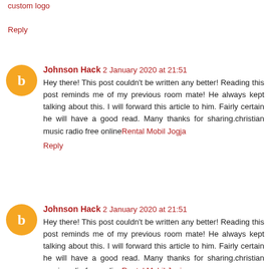custom logo
Reply
Johnson Hack  2 January 2020 at 21:51
Hey there! This post couldn't be written any better! Reading this post reminds me of my previous room mate! He always kept talking about this. I will forward this article to him. Fairly certain he will have a good read. Many thanks for sharing.christian music radio free onlineRental Mobil Jogja
Reply
Johnson Hack  2 January 2020 at 21:51
Hey there! This post couldn't be written any better! Reading this post reminds me of my previous room mate! He always kept talking about this. I will forward this article to him. Fairly certain he will have a good read. Many thanks for sharing.christian music radio free onlineRental Mobil Jogja
Reply